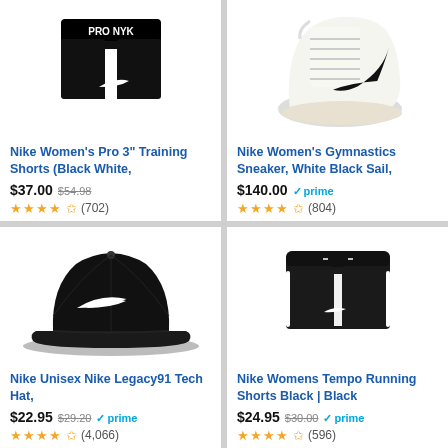[Figure (photo): Nike Women's Pro 3-inch training shorts in black with white Nike logo]
Nike Women's Pro 3" Training Shorts (Black White,
$37.00 $54.98
★★★★✩ (702)
[Figure (photo): Nike Women's Gymnastics Sneaker white high-top shoe with black swoosh]
Nike Women's Gymnastics Sneaker, White Black Sail,
$140.00 ✓prime
★★★★✩ (804)
[Figure (photo): Nike Legacy91 Tech Hat black baseball cap with white swoosh]
Nike Unisex Nike Legacy91 Tech Hat,
$22.95 $29.20 ✓prime
★★★★✩ (4,066)
[Figure (photo): Nike Womens Tempo Running Shorts black with white trim]
Nike Womens Tempo Running Shorts Black | Black
$24.95 $30.00 ✓prime
★★★★✩ (596)